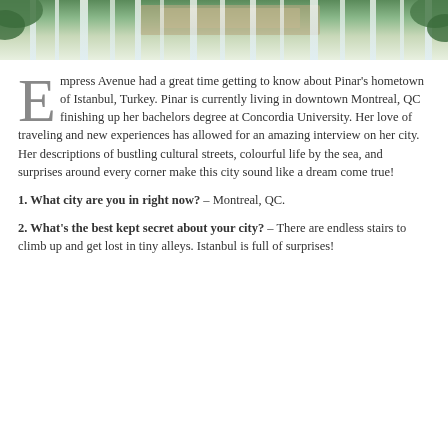[Figure (photo): Top portion of a waterfall photo with green foliage and cascading white water]
Empress Avenue had a great time getting to know about Pinar's hometown of Istanbul, Turkey. Pinar is currently living in downtown Montreal, QC finishing up her bachelors degree at Concordia University. Her love of traveling and new experiences has allowed for an amazing interview on her city. Her descriptions of bustling cultural streets, colourful life by the sea, and surprises around every corner make this city sound like a dream come true!
1. What city are you in right now? – Montreal, QC.
2. What's the best kept secret about your city? – There are endless stairs to climb up and get lost in tiny alleys. Istanbul is full of surprises!